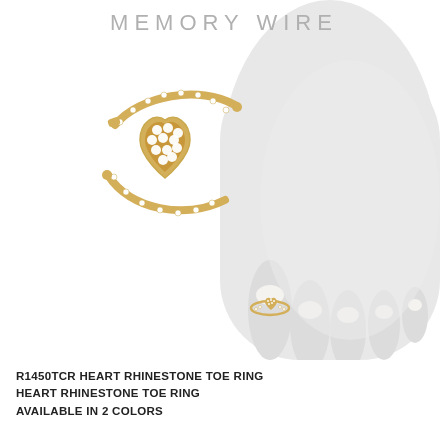MEMORY WIRE
[Figure (photo): A gold heart rhinestone toe ring shown in two views: a large close-up of the ring off a white mannequin foot, featuring a gold heart shape pavé-set with clear rhinestones and an open memory wire band also set with rhinestones; and the ring worn on the big toe of a white mannequin foot, showing a smaller heart charm with rhinestones.]
TOE RING
R1450TCR HEART RHINESTONE TOE RING
HEART RHINESTONE TOE RING
AVAILABLE IN 2 COLORS